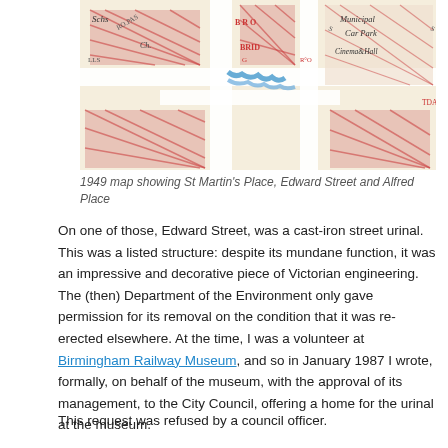[Figure (map): 1949 map excerpt showing street names including St Martin's Place, Edward Street, Alfred Place, Municipal Car Park, Cinema & Hall, and other local features with red hatching on buildings]
1949 map showing St Martin's Place, Edward Street and Alfred Place
On one of those, Edward Street, was a cast-iron street urinal. This was a listed structure: despite its mundane function, it was an impressive and decorative piece of Victorian engineering. The (then) Department of the Environment only gave permission for its removal on the condition that it was re-erected elsewhere. At the time, I was a volunteer at Birmingham Railway Museum, and so in January 1987 I wrote, formally, on behalf of the museum, with the approval of its management, to the City Council, offering a home for the urinal at the museum.
This request was refused by a council officer.